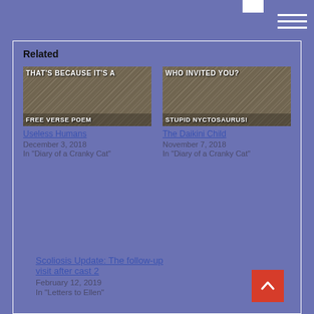Related
[Figure (photo): Cat meme image with text THAT'S BECAUSE IT'S A at top and FREE VERSE POEM at bottom]
Useless Humans
December 3, 2018
In "Diary of a Cranky Cat"
[Figure (photo): Cat meme image with text WHO INVITED YOU? at top and STUPID NYCTOSAURUS! at bottom]
The Daikini Child
November 7, 2018
In "Diary of a Cranky Cat"
Scoliosis Update: The follow-up visit after cast 2
February 12, 2019
In "Letters to Ellen"